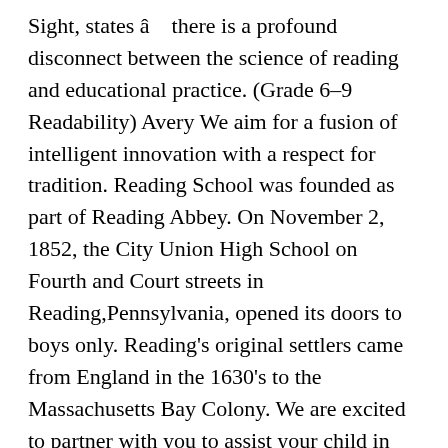Sight, states â   there is a profound disconnect between the science of reading and educational practice. (Grade 6-9 Readability) Avery We aim for a fusion of intelligent innovation with a respect for tradition. Reading School was founded as part of Reading Abbey. On November 2, 1852, the City Union High School on Fourth and Court streets in Reading,Pennsylvania, opened its doors to boys only. Reading's original settlers came from England in the 1630's to the Massachusetts Bay Colony. We are excited to partner with you to assist your child in targeted learning gains . General History History Courses *NEW* History Lesson Starters History Lesson Plenaries Past Papers Exam Practice